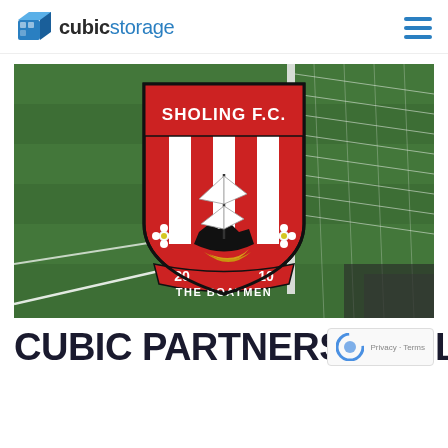cubicstorage
[Figure (photo): Football pitch with goal net visible, overlaid with Sholing F.C. crest/badge. The badge is red and white shield shape with 'SHOLING F.C.' text at top, red and white vertical stripes, a sailing ship in the center, white flowers on each side, and a banner reading '2010 THE BOATMEN' at the bottom.]
CUBIC PARTNERS SHOLING